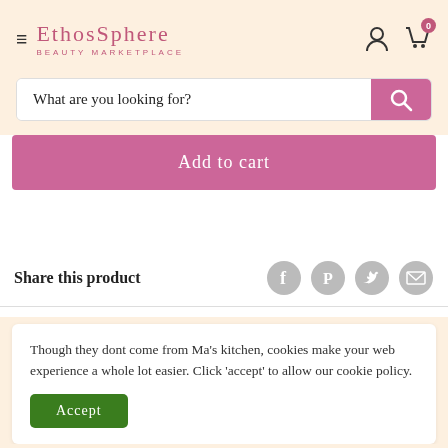EthosSphere Beauty Marketplace
What are you looking for?
Add to cart
Share this product
Though they dont come from Ma's kitchen, cookies make your web experience a whole lot easier. Click 'accept' to allow our cookie policy.
Accept
your next style.